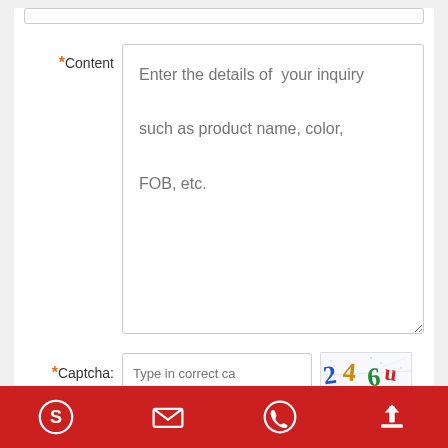*Content — Enter the details of your inquiry such as product name, color, FOB, etc. (placeholder)
*Captcha: Type in correct ca (placeholder)
[Figure (other): CAPTCHA image showing distorted characters: 2 4 6 u]
Submit
Related Products
Footer navigation bar with Skype, email, phone, and scroll-to-top icons